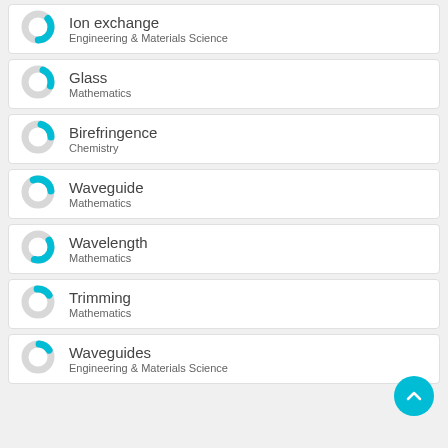Ion exchange — Engineering & Materials Science
Glass — Mathematics
Birefringence — Chemistry
Waveguide — Mathematics
Wavelength — Mathematics
Trimming — Mathematics
Waveguides — Engineering & Materials Science